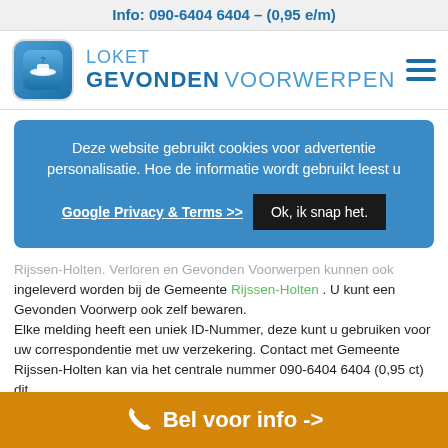Info: 090-6404 6404 – (0,95 e/m)
[Figure (logo): Loket Gevonden Voorwerpen logo with icon showing a hat and question mark on a blue rounded-square background, followed by text 'LOKET GEVONDEN VOORWERPEN']
Deze website gebruikt cookies voor advertentie personalisatie. Hoe de informatie wordt gebruikt leest u Google Privacy & Terms >> Ok, ik snap het.
Rijssen-Holten. Verloren en Gevonden Voorwerpen kunnen ook ingeleverd worden bij de Gemeente Rijssen-Holten . U kunt een Gevonden Voorwerp ook zelf bewaren.
Elke melding heeft een uniek ID-Nummer, deze kunt u gebruiken voor uw correspondentie met uw verzekering. Contact met Gemeente Rijssen-Holten kan via het centrale nummer 090-6404 6404 (0,95 ct) dit
Bel voor info ->